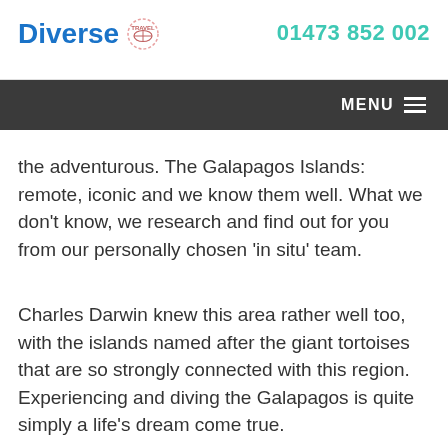Diverse Travel  01473 852 002
the adventurous. The Galapagos Islands: remote, iconic and we know them well. What we don't know, we research and find out for you from our personally chosen 'in situ' team.
Charles Darwin knew this area rather well too, with the islands named after the giant tortoises that are so strongly connected with this region. Experiencing and diving the Galapagos is quite simply a life's dream come true.